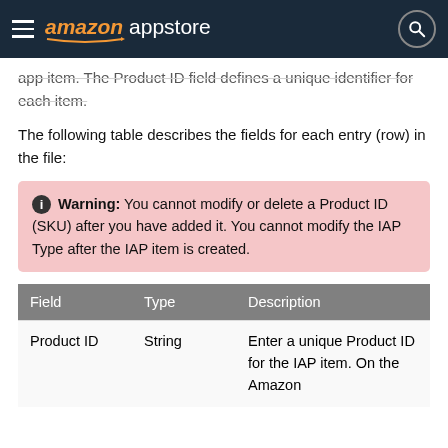amazon appstore
app item. The Product ID field defines a unique identifier for each item.
The following table describes the fields for each entry (row) in the file:
Warning: You cannot modify or delete a Product ID (SKU) after you have added it. You cannot modify the IAP Type after the IAP item is created.
| Field | Type | Description |
| --- | --- | --- |
| Product ID | String | Enter a unique Product ID for the IAP item. On the Amazon |